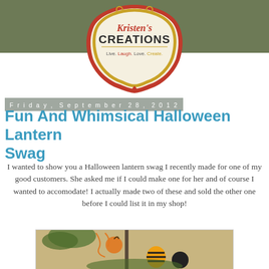[Figure (logo): Kristen's Creations logo with ornate border. Text reads: Kristen's CREATIONS, Live. Laugh. Love. Create. Gold and red decorative frame on green background.]
Friday, September 28, 2012
Fun And Whimsical Halloween Lantern Swag
I wanted to show you a Halloween lantern swag I recently made for one of my good customers. She asked me if I could make one for her and of course I wanted to accomodate! I actually made two of these and sold the other one before I could list it in my shop!
[Figure (photo): Photo of a Halloween lantern swag with decorative orange and black elements, striped ornaments, and greenery displayed on a lantern.]